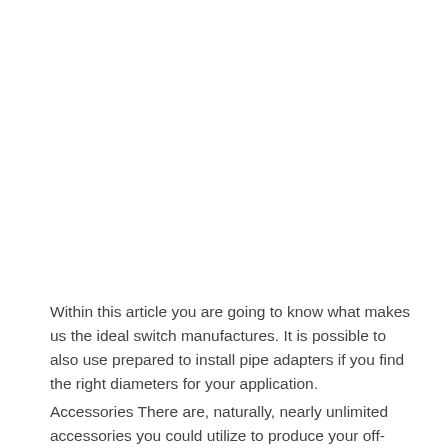Within this article you are going to know what makes us the ideal switch manufactures. It is possible to also use prepared to install pipe adapters if you find the right diameters for your application.
Accessories There are, naturally, nearly unlimited accessories you could utilize to produce your off-